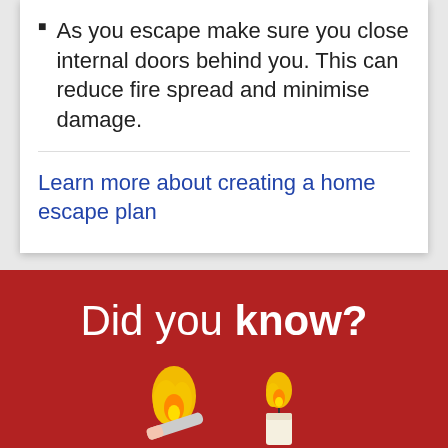As you escape make sure you close internal doors behind you. This can reduce fire spread and minimise damage.
Learn more about creating a home escape plan
[Figure (infographic): Red background infographic section with text 'Did you know?' and illustration of a cigarette and candle with flames at the bottom]